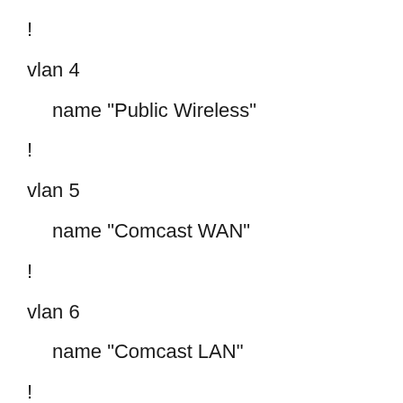!
vlan 4
name "Public Wireless"
!
vlan 5
name "Comcast WAN"
!
vlan 6
name "Comcast LAN"
!
!
interface switchport 0/1